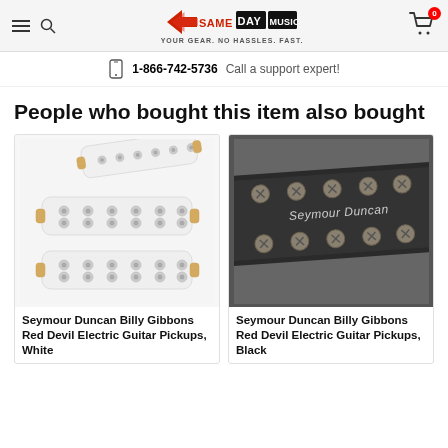Same Day Music — YOUR GEAR. NO HASSLES. FAST.
1-866-742-5736 Call a support expert!
People who bought this item also bought
[Figure (photo): White Seymour Duncan Billy Gibbons Red Devil Electric Guitar Pickups set — showing three white pickup units with visible pole screws and mounting hardware]
Seymour Duncan Billy Gibbons Red Devil Electric Guitar Pickups, White
[Figure (photo): Black Seymour Duncan Billy Gibbons Red Devil Electric Guitar Pickup — close-up of a black humbucker pickup with visible screws and Seymour Duncan branding]
Seymour Duncan Billy Gibbons Red Devil Electric Guitar Pickups, Black